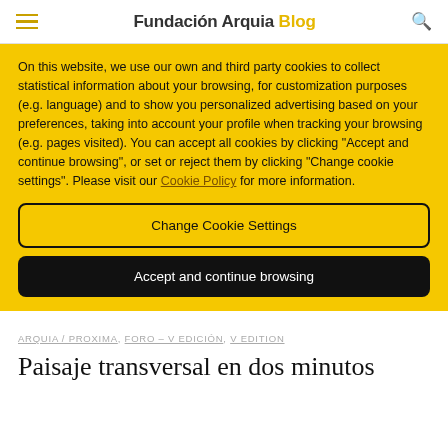Fundación Arquia Blog
On this website, we use our own and third party cookies to collect statistical information about your browsing, for customization purposes (e.g. language) and to show you personalized advertising based on your preferences, taking into account your profile when tracking your browsing (e.g. pages visited). You can accept all cookies by clicking "Accept and continue browsing", or set or reject them by clicking "Change cookie settings". Please visit our Cookie Policy for more information.
Change Cookie Settings
Accept and continue browsing
ARQUIA / PROXIMA, FORO – V EDICIÓN, V EDITION
Paisaje transversal en dos minutos